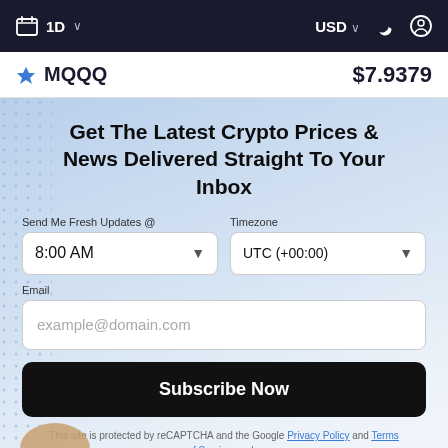1D  USD
MQQQ   $7.9379
Get The Latest Crypto Prices & News Delivered Straight To Your Inbox
Send Me Fresh Updates @
8:00 AM
Timezone
UTC (+00:00)
Email
example@domain.com
Subscribe Now
This site is protected by reCAPTCHA and the Google Privacy Policy and Terms of Service apply.